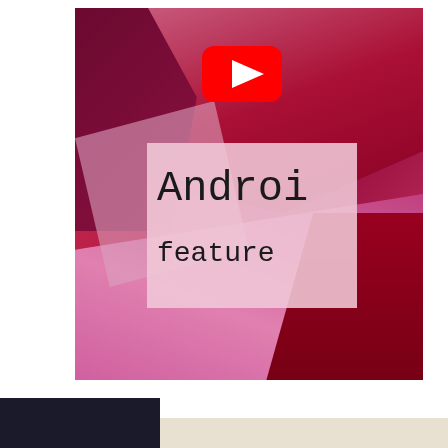[Figure (screenshot): YouTube video thumbnail showing an Android-related video. The thumbnail has a pink/magenta/red abstract floral or layered background. A YouTube play button (red rounded rectangle with white triangle) is visible in the upper portion. A pink semi-transparent overlay box contains the text 'Androi' (partially cut off, full word 'Android') and below it 'feature' (partially cut off). The image is cropped on the right side.]